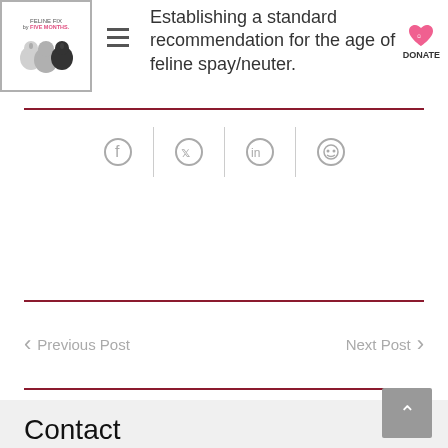Establishing a standard recommendation for the age of feline spay/neuter.
[Figure (other): Social sharing icons: Facebook, Twitter, LinkedIn, Reddit]
Previous Post
Next Post
Contact
Feline Fix by Five, a project of Marian's Dream and United Spay Alliance P.O. Box 365 Brunswick, ME 04011
Phone: (855) 564-7875